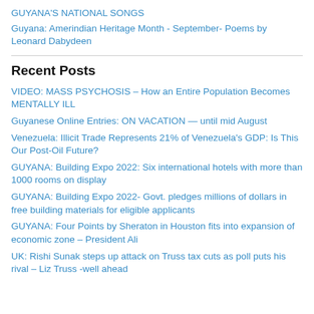GUYANA'S NATIONAL SONGS
Guyana: Amerindian Heritage Month - September- Poems by Leonard Dabydeen
Recent Posts
VIDEO: MASS PSYCHOSIS – How an Entire Population Becomes MENTALLY ILL
Guyanese Online Entries: ON VACATION — until mid August
Venezuela: Illicit Trade Represents 21% of Venezuela's GDP: Is This Our Post-Oil Future?
GUYANA: Building Expo 2022: Six international hotels with more than 1000 rooms on display
GUYANA: Building Expo 2022- Govt. pledges millions of dollars in free building materials for eligible applicants
GUYANA: Four Points by Sheraton in Houston fits into expansion of economic zone – President Ali
UK: Rishi Sunak steps up attack on Truss tax cuts as poll puts his rival – Liz Truss -well ahead